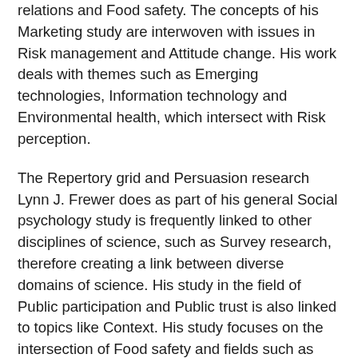relations and Food safety. The concepts of his Marketing study are interwoven with issues in Risk management and Attitude change. His work deals with themes such as Emerging technologies, Information technology and Environmental health, which intersect with Risk perception.
The Repertory grid and Persuasion research Lynn J. Frewer does as part of his general Social psychology study is frequently linked to other disciplines of science, such as Survey research, therefore creating a link between diverse domains of science. His study in the field of Public participation and Public trust is also linked to topics like Context. His study focuses on the intersection of Food safety and fields such as Risk analysis with connections in the field of Focus group and Environmental resource management.